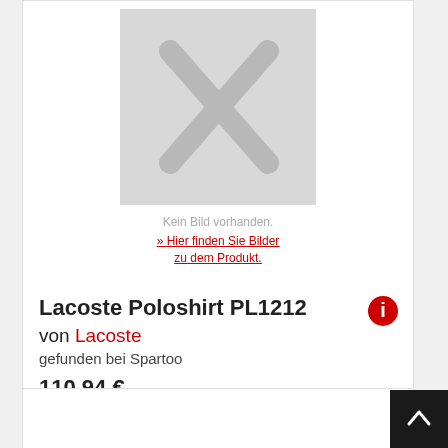[Figure (illustration): Product image placeholder with gray background and X mark indicating no image available]
Kein Bild vorhanden.
» Hier finden Sie Bilder zu dem Produkt.
Lacoste Poloshirt PL1212
von Lacoste
gefunden bei Spartoo
110,94 €
Versandkosten: 5,00 €